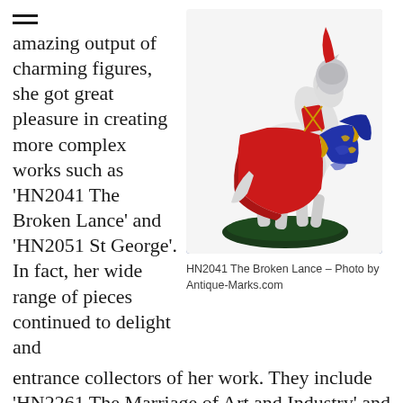amazing output of charming figures, she got great pleasure in creating more complex works such as 'HN2041 The Broken Lance' and 'HN2051 St George'. In fact, her wide range of pieces continued to delight and entrance collectors of her work. They include 'HN2261 The Marriage of Art and Industry' and the enchanting 'Southern Belle'.
[Figure (photo): A Royal Doulton ceramic figurine HN2041 The Broken Lance, depicting a medieval knight on horseback in red and blue decorated armour and robes, mounted on a white horse, on a dark green base.]
HN2041 The Broken Lance – Photo by Antique-Marks.com
In 1970, the first of a 12 set lady musicians series was completed – a lady playing the cello. Other members of